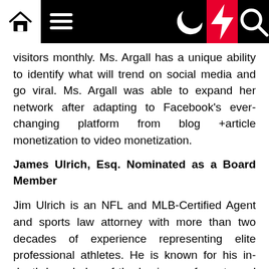Navigation bar with home, menu, moon, lightning, and search icons
visitors monthly. Ms. Argall has a unique ability to identify what will trend on social media and go viral. Ms. Argall was able to expand her network after adapting to Facebook's ever-changing platform from blog +article monetization to video monetization.
James Ulrich, Esq. Nominated as a Board Member
Jim Ulrich is an NFL and MLB-Certified Agent and sports law attorney with more than two decades of experience representing elite professional athletes. He is known for his in-depth knowledge of the business of sports and trusted, long-standing relationships with coaches, executives and other personnel throughout the leagues. Jim is a partner at Enter-Sports Management, a full-service agency for